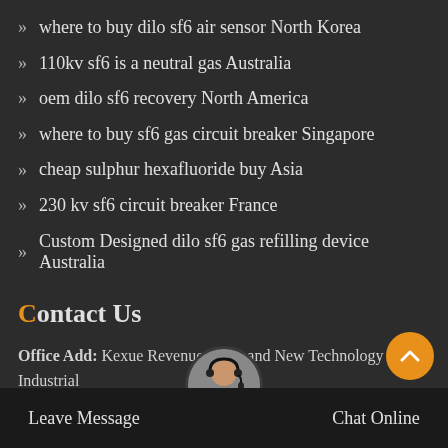where to buy dilo sf6 air sensor North Korea
110kv sf6 is a neutral gas Australia
oem dilo sf6 recovery North America
where to buy sf6 gas circuit breaker Singapore
cheap sulphur hexafluoride buy Asia
230 kv sf6 circuit breaker France
Custom Designed dilo sf6 gas refilling device Australia
Contact Us
Office Add: Kexue Revenue, High and New Technology Industrial Development Zone, Zhengzhou, China
Leave Message   Chat Online